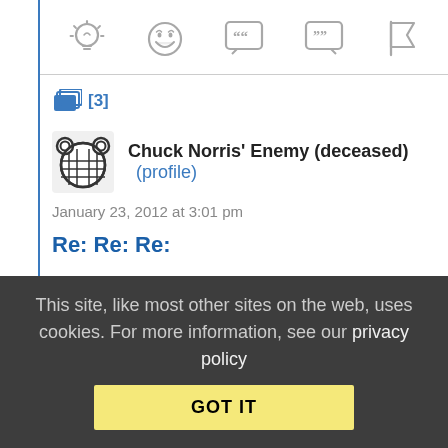[Figure (other): Row of action/reaction icons: lightbulb, laughing emoji, open-quote speech bubble, close-quote speech bubble, flag]
[3]
Chuck Norris' Enemy (deceased) (profile)
January 23, 2012 at 3:01 pm
Re: Re: Re:
I think a lot of Tea Partiers think the war is good and there are lots of terrorists just waiting to blow up the next bus full of children...
This site, like most other sites on the web, uses cookies. For more information, see our privacy policy
GOT IT